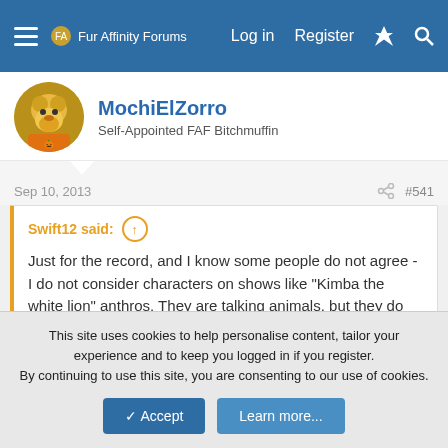Fur Affinity Forums — Log in  Register
MochiElZorro
Self-Appointed FAF Bitchmuffin
Sep 10, 2013  #541
Swift12 said:
Just for the record, and I know some people do not agree - I do not consider characters on shows like "Kimba the white lion" anthros. They are talking animals, but they do not have a humanoid appearance. Same goes for Wolf's Rain - they are intelligent talking wolves who appear as humans to people, but they do not have any intermediate, anthro werewolf forms.
Btw, we had such lists before... I think it would be useful if you provided a
Click to expand...
This site uses cookies to help personalise content, tailor your experience and to keep you logged in if you register.
By continuing to use this site, you are consenting to our use of cookies.
Accept  Learn more...